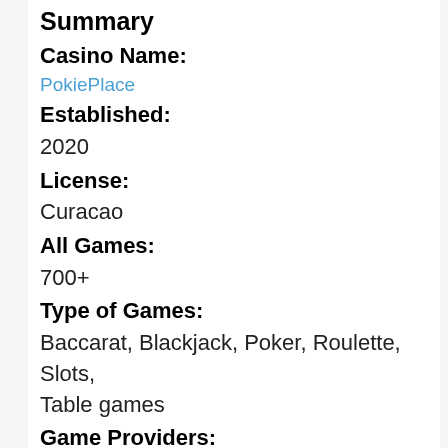Summary
Casino Name:
PokiePlace
Established:
2020
License:
Curacao
All Games:
700+
Type of Games:
Baccarat, Blackjack, Poker, Roulette, Slots, Table games
Game Providers:
Quickspin, Wazdan, Evolution Gaming, iSoftBet, Booming-Games, Habanero, Tom